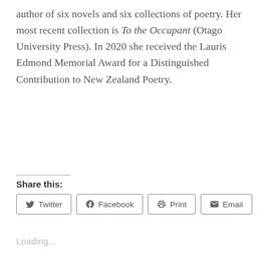author of six novels and six collections of poetry. Her most recent collection is To the Occupant (Otago University Press). In 2020 she received the Lauris Edmond Memorial Award for a Distinguished Contribution to New Zealand Poetry.
Share this:
Twitter  Facebook  Print  Email
Loading...